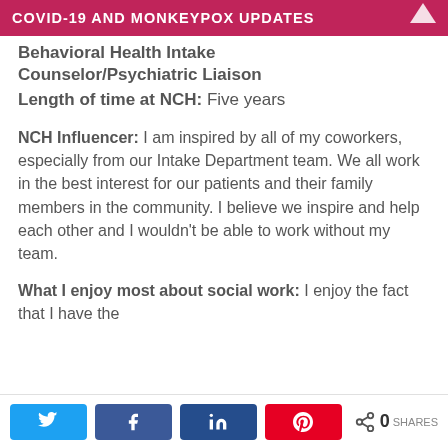COVID-19 AND MONKEYPOX UPDATES
Behavioral Health Intake Counselor/Psychiatric Liaison
Length of time at NCH: Five years
NCH Influencer: I am inspired by all of my coworkers, especially from our Intake Department team. We all work in the best interest for our patients and their family members in the community. I believe we inspire and help each other and I wouldn't be able to work without my team.
What I enjoy most about social work: I enjoy the fact that I have the
0 SHARES